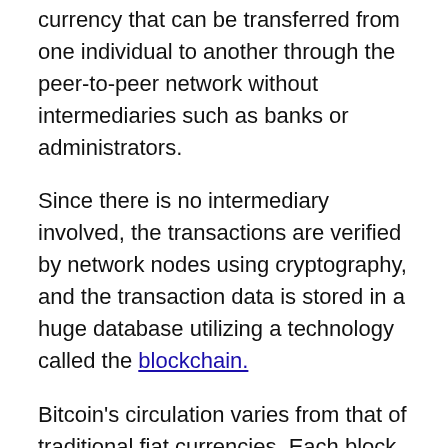currency that can be transferred from one individual to another through the peer-to-peer network without intermediaries such as banks or administrators.
Since there is no intermediary involved, the transactions are verified by network nodes using cryptography, and the transaction data is stored in a huge database utilizing a technology called the blockchain.
Bitcoin's circulation varies from that of traditional fiat currencies. Each block that is added to the blockchain network adds a total of 6.25 Bitcoins per circulation.